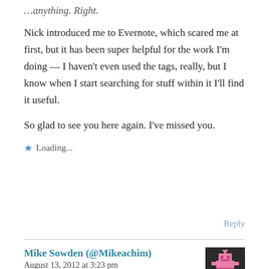…anything. Right.
Nick introduced me to Evernote, which scared me at first, but it has been super helpful for the work I'm doing — I haven't even used the tags, really, but I know when I start searching for stuff within it I'll find it useful.
So glad to see you here again. I've missed you.
★ Loading...
Reply
Mike Sowden (@Mikeachim)
August 13, 2012 at 3:23 pm
[Figure (illustration): Pixel art avatar of a pink robot/creature on dark background]
The very, *very* worst thing about shifting to doing this writing lark fulltime and trying to turn it into a profitable